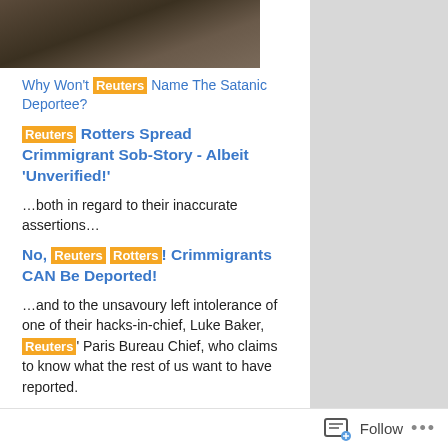[Figure (photo): Cropped photo showing dark fabric or clothing, partially visible at top of page]
Why Won't Reuters Name The Satanic Deportee?
Reuters Rotters Spread Crimmigrant Sob-Story - Albeit 'Unverified!'
…both in regard to their inaccurate assertions…
No, Reuters Rotters! Crimmigrants CAN Be Deported!
…and to the unsavoury left intolerance of one of their hacks-in-chief, Luke Baker, Reuters' Paris Bureau Chief, who claims to know what the rest of us want to have reported.
'The rhetoric that's coming out of Poland and Hungary is not what anybody wants to hear.'
To which I responded, of course…